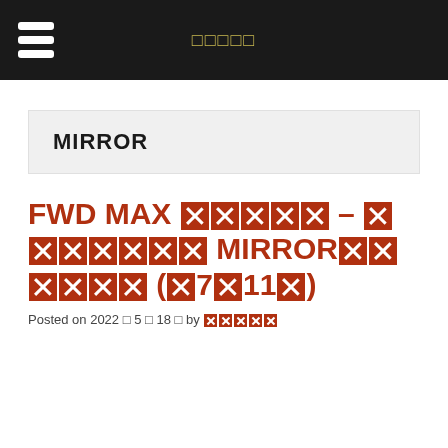□□□□□
MIRROR
FWD MAX □□□□□ – □□□□□□□ MIRROR□□□□□□ (□7□11□)
Posted on 2022 □ 5 □ 18 □ by □□□□□